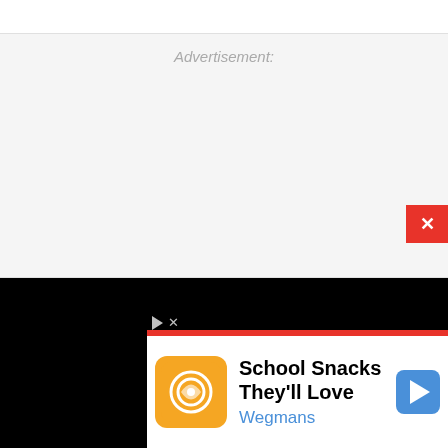Advertisement:
[Figure (screenshot): Advertisement banner area showing 'School Snacks They'll Love' Wegmans ad with orange app icon, navigation arrow icon, close button (X), and red accent strip at bottom of black background bar]
School Snacks They'll Love Wegmans